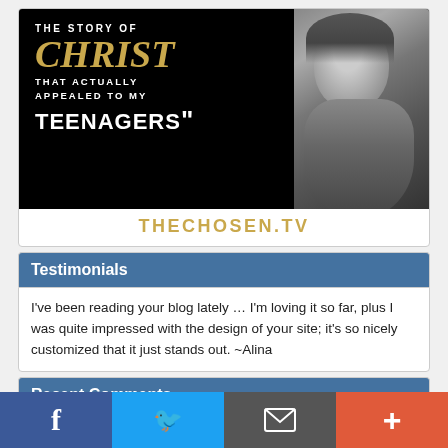[Figure (illustration): Black and white advertisement image showing text overlaid on a photo of a man resembling Jesus Christ. Text reads: THE STORY OF CHRIST THAT ACTUALLY APPEALED TO MY TEENAGERS]
THECHOSEN.TV
Testimonials
I've been reading your blog lately … I'm loving it so far, plus I was quite impressed with the design of your site; it's so nicely customized that it just stands out. ~Alina
Recent Comments
Homeschooling Teen – August/September 2022 – Homeschooling
[Figure (infographic): Bottom navigation bar with four buttons: Facebook (blue), Twitter (light blue), Email/envelope (gray), Plus/share (orange-red)]